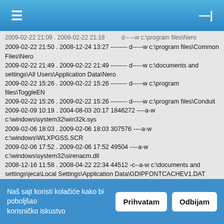≡  ⊣|
2009-02-22 21:09 . 2009-02-22 21:18 ... d-----w c:\program files\Nero
2009-02-22 21:50 . 2008-12-24 13:27 -------- d-----w c:\program files\Common Files\Nero
2009-02-22 21:49 . 2009-02-22 21:49 -------- d-----w c:\documents and settings\All Users\Application Data\Nero
2009-02-22 15:26 . 2009-02-22 15:26 -------- d-----w c:\program files\ToggleEN
2009-02-22 15:26 . 2009-02-22 15:26 -------- d-----w c:\program files\Conduit
2009-02-09 10:19 . 2004-08-03 20:17 1846272 ----a-w c:\windows\system32\win32k.sys
2009-02-06 18:03 . 2009-02-06 18:03 307576 ----a-w c:\windows\WLXPGSS.SCR
2009-02-06 17:52 . 2009-02-06 17:52 49504 ----a-w c:\windows\system32\sirenacm.dll
2008-12-16 11:58 . 2008-04-22 22:34 44512 -c--a-w c:\documents and settings\jeca\Local Settings\Application Data\GDIPFONTCACHEV1.DAT
2008-06-08 12:17 . 2008-06-04 14:25 24192 -c--a-w c:\documents and settings\jeca\usbsermptxp.sys
2008-06-08 12:17 . 2008-06-04 14:24 22768 -c--a-w c:\documents and
Naš sajt koristi kolačiće kako bi poboljšao korisničko iskustvo  [Prihvatam] [Odbijam]